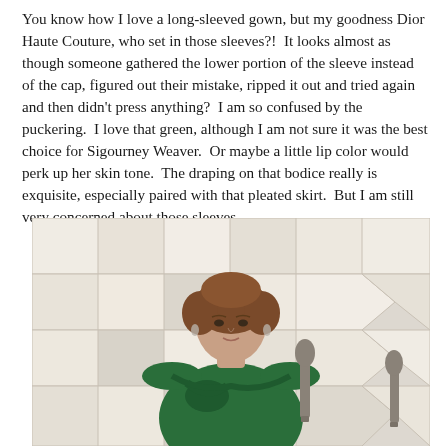You know how I love a long-sleeved gown, but my goodness Dior Haute Couture, who set in those sleeves?!  It looks almost as though someone gathered the lower portion of the sleeve instead of the cap, figured out their mistake, ripped it out and tried again and then didn't press anything?  I am so confused by the puckering.  I love that green, although I am not sure it was the best choice for Sigourney Weaver.  Or maybe a little lip color would perk up her skin tone.  The draping on that bodice really is exquisite, especially paired with that pleated skirt.  But I am still very concerned about those sleeves . . .
[Figure (photo): Photo of Sigourney Weaver wearing a green long-sleeved Dior Haute Couture gown on a red carpet with a geometric hexagonal white/grey pattern backdrop. She is shown from waist up, with short brown hair, drop earrings, and a draped/knotted bodice detail on the green satin gown.]